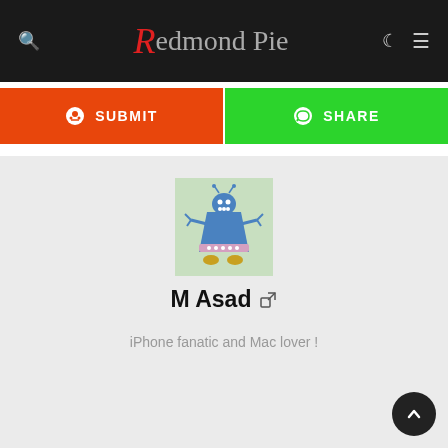Redmond Pie
SUBMIT
SHARE
[Figure (illustration): Blue cartoon robot character with triangular body, arms, and golden feet on a light green background]
M Asad
iPhone fanatic and Mac lover !